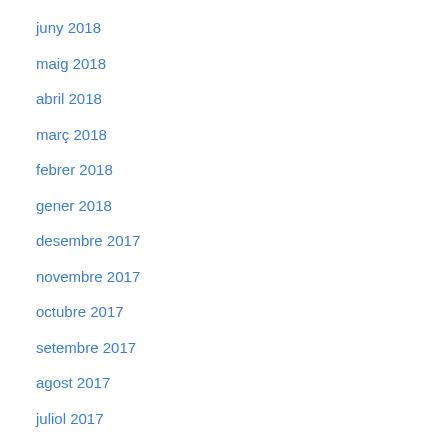juny 2018
maig 2018
abril 2018
març 2018
febrer 2018
gener 2018
desembre 2017
novembre 2017
octubre 2017
setembre 2017
agost 2017
juliol 2017
juny 2017